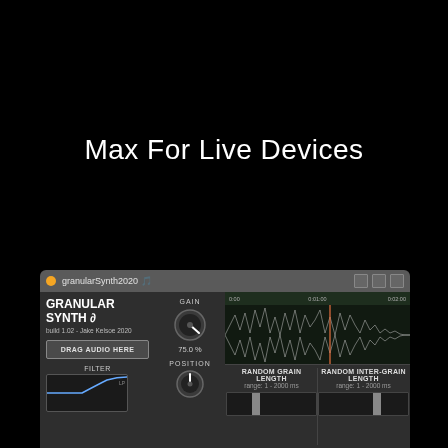Max For Live Devices
[Figure (screenshot): Screenshot of a Max for Live granular synthesizer plugin called 'GRANULAR SYNTH' build 1.02 by Jake Kelsoe 2020. Shows a plugin window with a waveform display, DRAG AUDIO HERE button, GAIN knob at 75.0%, FILTER section, POSITION knob, RANDOM GRAIN LENGTH range: 1-2000 ms, and RANDOM INTER-GRAIN LENGTH range: 1-2000 ms controls.]